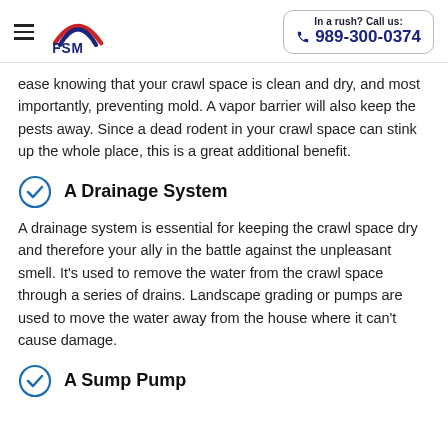FSM | In a rush? Call us: 989-300-0374
ease knowing that your crawl space is clean and dry, and most importantly, preventing mold. A vapor barrier will also keep the pests away. Since a dead rodent in your crawl space can stink up the whole place, this is a great additional benefit.
A Drainage System
A drainage system is essential for keeping the crawl space dry and therefore your ally in the battle against the unpleasant smell. It's used to remove the water from the crawl space through a series of drains. Landscape grading or pumps are used to move the water away from the house where it can't cause damage.
A Sump Pump